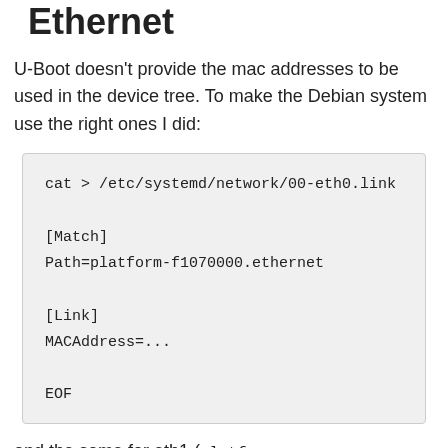Ethernet
U-Boot doesn't provide the mac addresses to be used in the device tree. To make the Debian system use the right ones I did:
cat > /etc/systemd/network/00-eth0.link
[Match]
Path=platform-f1070000.ethernet
[Link]
MACAddress=...
EOF
and the same for eth1 (platform-f1030000.ethernet) and eth2 (platform-f1034000.ethernet).
The mac address reserved for your machine is saved in the crypto chip. To find out the base check U-Boot's